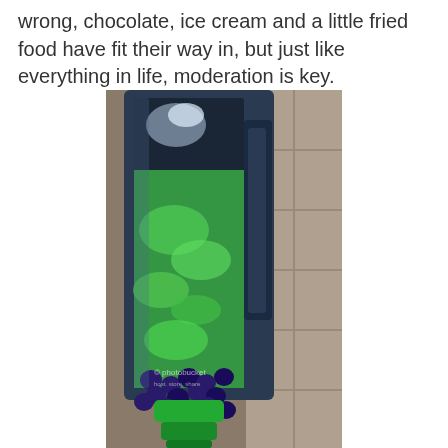wrong, chocolate, ice cream and a little fried food have fit their way in, but just like everything in life, moderation is key.
[Figure (photo): A blender jar filled with green ingredients (leafy greens) and blueberries at the bottom, photographed from the side. The blender has a clear plastic container with a blue/dark frame, and a green base. A Photobucket watermark is visible on the image.]